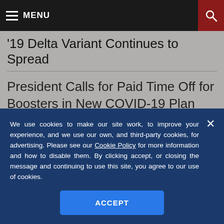MENU
'19 Delta Variant Continues to Spread
President Calls for Paid Time Off for Boosters in New COVID-19 Plan
We use cookies to make our site work, to improve your experience, and we use our own, and third-party cookies, for advertising. Please see our Cookie Policy for more information and how to disable them. By clicking accept, or closing the message and continuing to use this site, you agree to our use of cookies.
ACCEPT